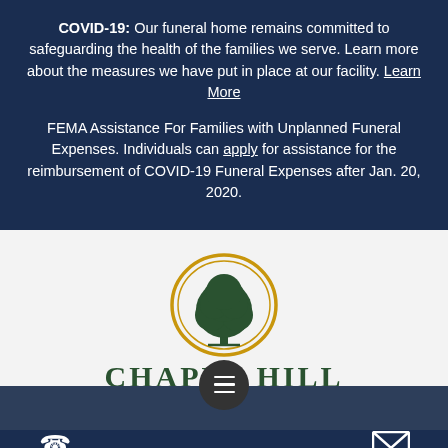COVID-19: Our funeral home remains committed to safeguarding the health of the families we serve. Learn more about the measures we have put in place at our facility. Learn More
FEMA Assistance For Families with Unplanned Funeral Expenses. Individuals can apply for assistance for the reimbursement of COVID-19 Funeral Expenses after Jan. 20, 2020.
[Figure (logo): Chapel Hill Memorial Gardens & Funeral Home logo — a green tree inside a gold circular ring above the text CHAPEL HILL MEMORIAL GARDENS & FUNERAL HOME]